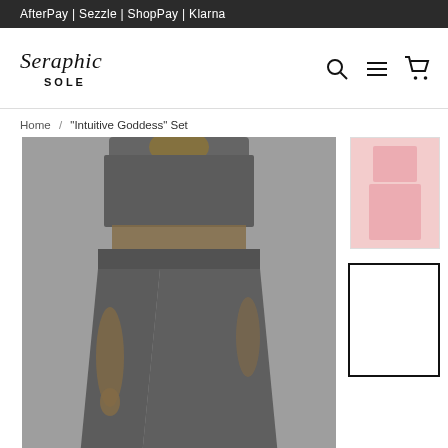AfterPay | Sezzle | ShopPay | Klarna
[Figure (logo): Seraphic Sole cursive logo with 'SOLE' in uppercase block letters beneath]
Home / "Intuitive Goddess" Set
[Figure (photo): Model wearing a dark charcoal/grey two-piece set consisting of a cropped sleeveless top and wide-leg pants, photographed from mid-torso down]
[Figure (photo): Small thumbnail of a pink version of the set]
[Figure (photo): Small thumbnail showing white/blank product image with black border (currently selected)]